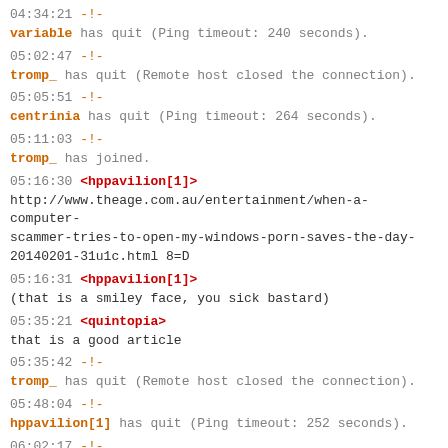04:34:21 -!- variable has quit (Ping timeout: 240 seconds).
05:02:47 -!- tromp_ has quit (Remote host closed the connection).
05:05:51 -!- centrinia has quit (Ping timeout: 264 seconds).
05:11:03 -!- tromp_ has joined.
05:16:30 <hppavilion[1]> http://www.theage.com.au/entertainment/when-a-computer-scammer-tries-to-open-my-windows-porn-saves-the-day-20140201-31u1c.html 8=D
05:16:31 <hppavilion[1]> (that is a smiley face, you sick bastard)
05:35:21 <quintopia> that is a good article
05:35:42 -!- tromp_ has quit (Remote host closed the connection).
05:48:04 -!- hppavilion[1] has quit (Ping timeout: 252 seconds).
06:02:17 -!- hppavilion[1] has joined.
06:36:12 -!- tromp_ has joined.
06:27:22 -!-